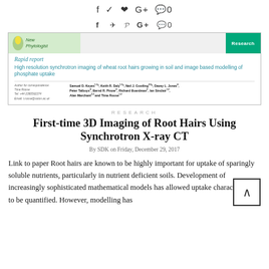f y p G+ 0
[Figure (screenshot): Screenshot of a New Phytologist journal article header showing 'Rapid report' label, paper title 'High resolution synchrotron imaging of wheat root hairs growing in soil and image based modelling of phosphate uptake', author list including Samuel D. Keyes, Keith R. Daly, Neil J. Gostling, Davey L. Jones, Peter Talboys, Bernd R. Pinzer, Richard Boardman, Ian Sinclair, Alan Marchant, and Tiina Roose, with correspondence info for Tiina Roose.]
RESEARCH
First-time 3D Imaging of Root Hairs Using Synchrotron X-ray CT
By SDK on Friday, December 29, 2017
Link to paper Root hairs are known to be highly important for uptake of sparingly soluble nutrients, particularly in nutrient deficient soils. Development of increasingly sophisticated mathematical models has allowed uptake characteristics to be quantified. However, modelling has